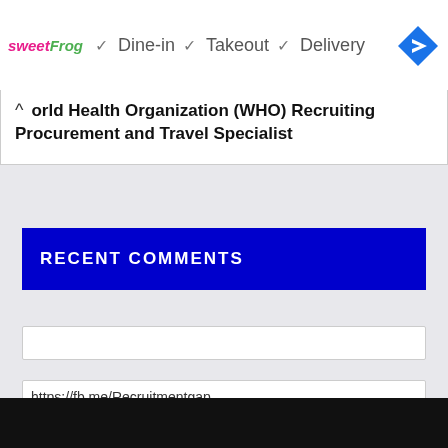[Figure (screenshot): sweetFrog restaurant ad banner showing Dine-in, Takeout, Delivery options with checkmarks and a blue navigation arrow icon]
orld Health Organization (WHO) Recruiting Procurement and Travel Specialist
RECENT COMMENTS
https://fb.me/Recruitmentgap